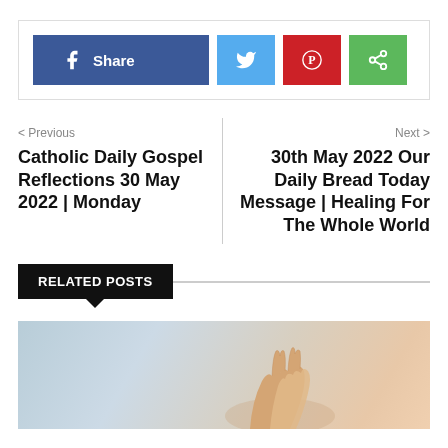[Figure (other): Social share buttons: Facebook Share (blue), Twitter (light blue), Pinterest (red), Share (green)]
< Previous
Catholic Daily Gospel Reflections 30 May 2022 | Monday
Next >
30th May 2022 Our Daily Bread Today Message | Healing For The Whole World
RELATED POSTS
[Figure (photo): Photo of hands praying, blurred background in light blue tones]